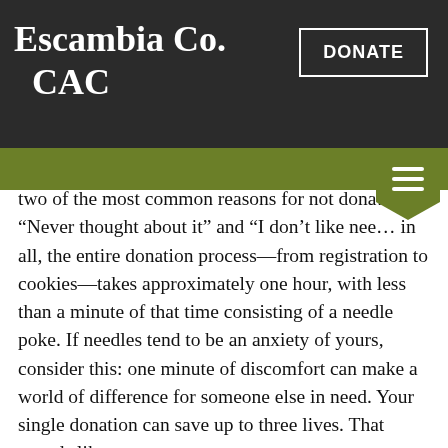Escambia Co. CAC
two of the most common reasons for not dona… “Never thought about it” and “I don’t like nee… in all, the entire donation process—from registration to cookies—takes approximately one hour, with less than a minute of that time consisting of a needle poke. If needles tend to be an anxiety of yours, consider this: one minute of discomfort can make a world of difference for someone else in need. Your single donation can save up to three lives. That sounds like a pretty great reason to conquer your fears.
This January, celebrate National Blood Donor Month by